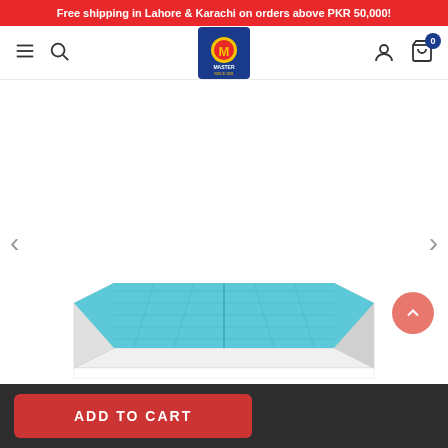Free shipping in Lahore & Karachi on orders above PKR 50,000!
[Figure (logo): Master brand logo — blue square background with red and yellow circular emblem showing 'M' figure and text MASTER SINCE 2001]
[Figure (photo): A light blue egg-crate foam mattress topper shown at an angle, revealing its textured quilted top surface and white foam base layer beneath.]
ADD TO CART